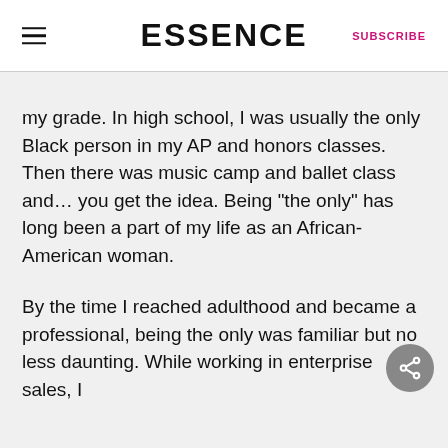ESSENCE | SUBSCRIBE
my grade. In high school, I was usually the only Black person in my AP and honors classes. Then there was music camp and ballet class and… you get the idea. Being “the only” has long been a part of my life as an African-American woman.
By the time I reached adulthood and became a professional, being the only was familiar but no less daunting. While working in enterprise sales, I